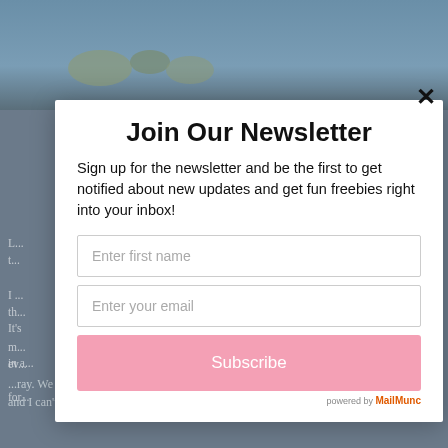[Figure (screenshot): Background webpage with a beach/ocean photo at the top and article text partially visible behind a newsletter signup modal overlay]
Join Our Newsletter
Sign up for the newsletter and be the first to get notified about new updates and get fun freebies right into your inbox!
Enter first name
Enter your email
Subscribe
powered by MailMunc